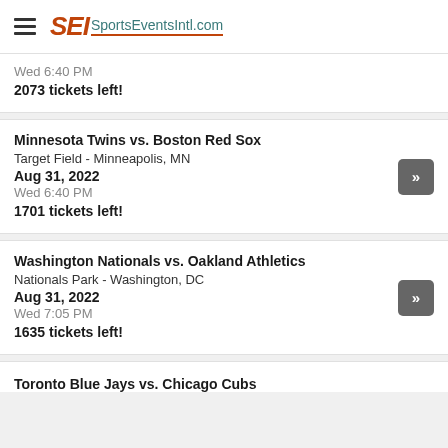SEI SportsEventsIntl.com
Wed 6:40 PM
2073 tickets left!
Minnesota Twins vs. Boston Red Sox
Target Field - Minneapolis, MN
Aug 31, 2022
Wed 6:40 PM
1701 tickets left!
Washington Nationals vs. Oakland Athletics
Nationals Park - Washington, DC
Aug 31, 2022
Wed 7:05 PM
1635 tickets left!
Toronto Blue Jays vs. Chicago Cubs